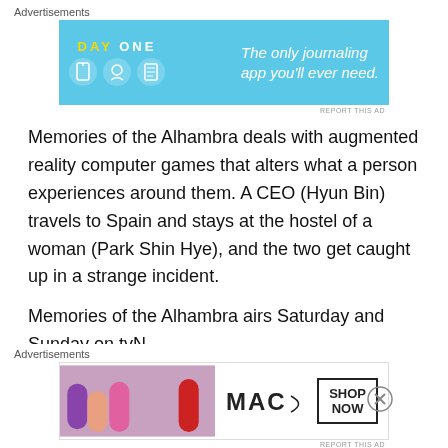Advertisements
[Figure (other): Day One journaling app advertisement banner — light blue background with DAY ONE logo, three circular icons, and text 'The only journaling app you'll ever need.']
REPORT THIS AD
Memories of the Alhambra deals with augmented reality computer games that alters what a person experiences around them. A CEO (Hyun Bin) travels to Spain and stays at the hostel of a woman (Park Shin Hye), and the two get caught up in a strange incident.
Memories of the Alhambra airs Saturday and Sunday on tvN.
Encounter (Boyfriend)
Advertisements
[Figure (other): MAC cosmetics advertisement banner showing lipsticks and MAC logo with 'SHOP NOW' button]